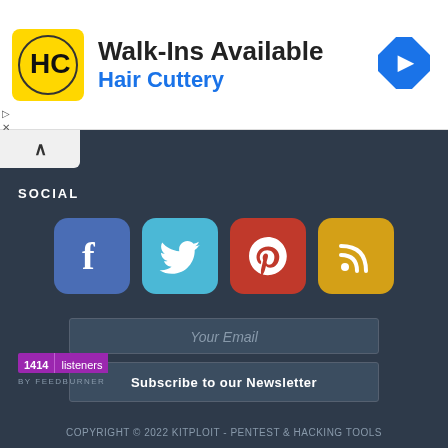[Figure (screenshot): Hair Cuttery advertisement banner with logo, Walk-Ins Available text, and navigation arrow icon]
[Figure (screenshot): Social media section on dark background with Facebook, Twitter, Pinterest, and RSS icons, email subscription form, FeedBurner listener badge, and copyright footer]